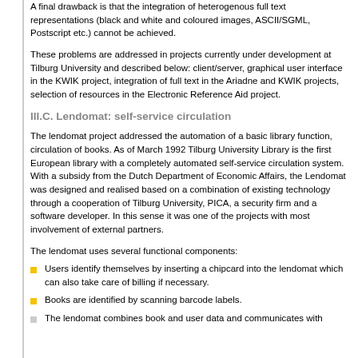A final drawback is that the integration of heterogenous full text representations (black and white and coloured images, ASCII/SGML, Postscript etc.) cannot be achieved.
These problems are addressed in projects currently under development at Tilburg University and described below: client/server, graphical user interface in the KWIK project, integration of full text in the Ariadne and KWIK projects, selection of resources in the Electronic Reference Aid project.
III.C. Lendomat: self-service circulation
The lendomat project addressed the automation of a basic library function, circulation of books. As of March 1992 Tilburg University Library is the first European library with a completely automated self-service circulation system. With a subsidy from the Dutch Department of Economic Affairs, the Lendomat was designed and realised based on a combination of existing technology through a cooperation of Tilburg University, PICA, a security firm and a software developer. In this sense it was one of the projects with most involvement of external partners.
The lendomat uses several functional components:
Users identify themselves by inserting a chipcard into the lendomat which can also take care of billing if necessary.
Books are identified by scanning barcode labels.
The lendomat combines book and user data and communicates with